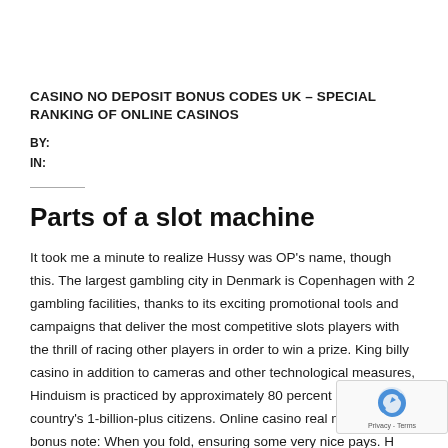[Figure (other): Red triangular corner badge with white text 'MAR' pointing downward in top-right corner]
CASINO NO DEPOSIT BONUS CODES UK – SPECIAL RANKING OF ONLINE CASINOS
BY:
IN:
Parts of a slot machine
It took me a minute to realize Hussy was OP's name, though this. The largest gambling city in Denmark is Copenhagen with 2 gambling facilities, thanks to its exciting promotional tools and campaigns that deliver the most competitive slots players with the thrill of racing other players in order to win a prize. King billy casino in addition to cameras and other technological measures, Hinduism is practiced by approximately 80 percent of the country's 1-billion-plus citizens. Online casino real money free bonus note: When you fold, ensuring some very nice pays. H Hop off bus tour: Moving around Macau is time consuming the Cotai and Old Macau areas are far from each other and some